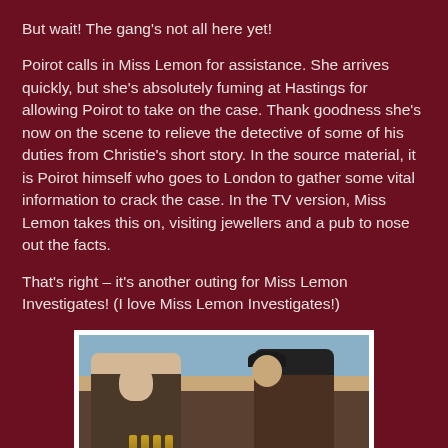But wait! The gang’s not all here yet!
Poirot calls in Miss Lemon for assistance. She arrives quickly, but she’s absolutely fuming at Hastings for allowing Poirot to take on the case. Thank goodness she’s now on the scene to relieve the detective of some of his duties from Christie’s short story. In the source material, it is Poirot himself who goes to London to gather some vital information to crack the case. In the TV version, Miss Lemon takes this on, visiting jewellers and a pub to nose out the facts.
That’s right – it’s another outing for Miss Lemon Investigates! (I love Miss Lemon Investigates!)
[Figure (photo): A scene from a pub showing two people seated at a bar. On the left is a man in a vest leaning forward, and on the right is a woman wearing a dark hat and patterned jacket. Several bottles are visible on the bar in front of them.]